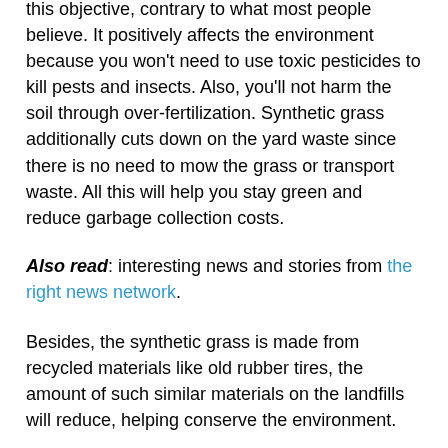this objective, contrary to what most people believe. It positively affects the environment because you won't need to use toxic pesticides to kill pests and insects. Also, you'll not harm the soil through over-fertilization. Synthetic grass additionally cuts down on the yard waste since there is no need to mow the grass or transport waste. All this will help you stay green and reduce garbage collection costs.
Also read: interesting news and stories from the right news network.
Besides, the synthetic grass is made from recycled materials like old rubber tires, the amount of such similar materials on the landfills will reduce, helping conserve the environment.
So, if you have been skeptical about getting synthetic grass, you have more reasons to make the switch. The earlier you do it; the